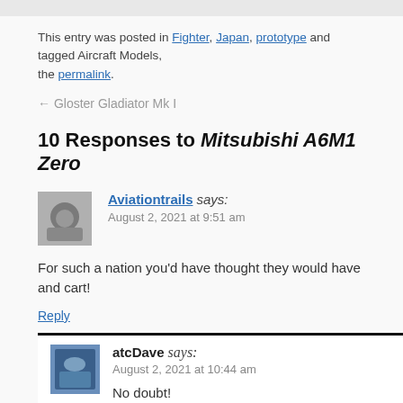This entry was posted in Fighter, Japan, prototype and tagged Aircraft Models, the permalink.
← Gloster Gladiator Mk I
10 Responses to Mitsubishi A6M1 Zero
Aviationtrails says: August 2, 2021 at 9:51 am
For such a nation you'd have thought they would have and cart!
Reply
atcDave says: August 2, 2021 at 10:44 am
No doubt!